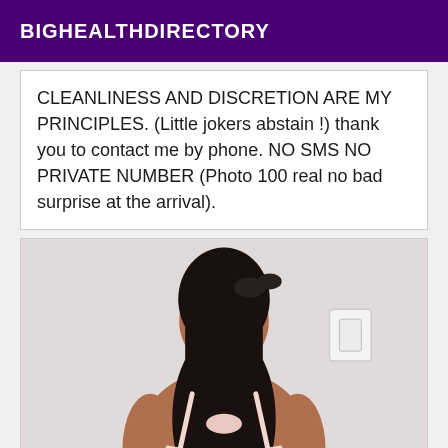BIGHEALTHDIRECTORY
CLEANLINESS AND DISCRETION ARE MY PRINCIPLES. (Little jokers abstain !) thank you to contact me by phone. NO SMS NO PRIVATE NUMBER (Photo 100 real no bad surprise at the arrival).
[Figure (photo): Photo of a person seen from behind with long dark hair in a half-up style, wearing a light pink bra, standing against a white wall with a light switch visible on the right.]